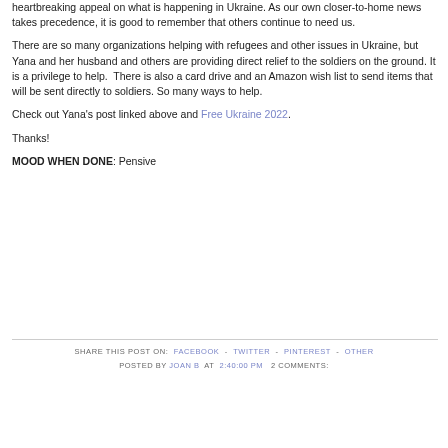heartbreaking appeal on what is happening in Ukraine. As our own closer-to-home news takes precedence, it is good to remember that others continue to need us.
There are so many organizations helping with refugees and other issues in Ukraine, but Yana and her husband and others are providing direct relief to the soldiers on the ground. It is a privilege to help.  There is also a card drive and an Amazon wish list to send items that will be sent directly to soldiers. So many ways to help.
Check out Yana's post linked above and Free Ukraine 2022.
Thanks!
MOOD WHEN DONE: Pensive
SHARE THIS POST ON: FACEBOOK - TWITTER - PINTEREST - OTHER  POSTED BY JOAN B AT 2:40:00 PM  2 COMMENTS: